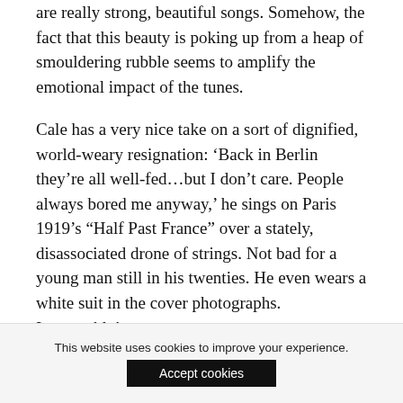are really strong, beautiful songs. Somehow, the fact that this beauty is poking up from a heap of smouldering rubble seems to amplify the emotional impact of the tunes.
Cale has a very nice take on a sort of dignified, world-weary resignation: ‘Back in Berlin they’re all well-fed…but I don’t care. People always bored me anyway,’ he sings on Paris 1919’s “Half Past France” over a stately, disassociated drone of strings. Not bad for a young man still in his twenties. He even wears a white suit in the cover photographs. Impeccable!
This website uses cookies to improve your experience.